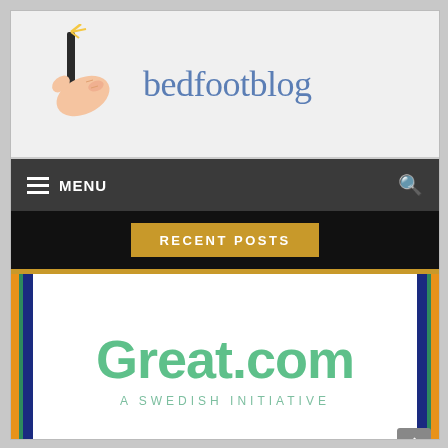[Figure (logo): Blog logo: hand holding a pen/pencil tool, with the text 'bedfootblog' in blue serif font]
≡ MENU
RECENT POSTS
[Figure (logo): Great.com logo - large green text 'Great.com' with 'A SWEDISH INITIATIVE' below in smaller green spaced text, flanked by vertical orange, green, and blue stripes on both sides]